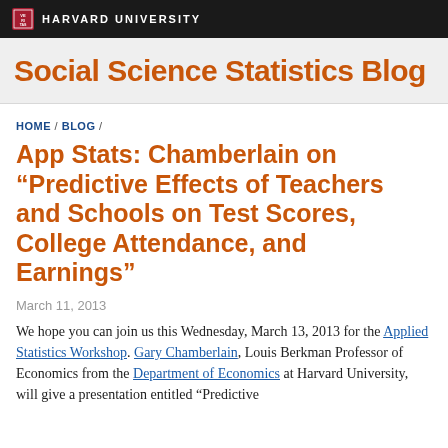HARVARD UNIVERSITY
Social Science Statistics Blog
HOME / BLOG /
App Stats: Chamberlain on "Predictive Effects of Teachers and Schools on Test Scores, College Attendance, and Earnings"
March 11, 2013
We hope you can join us this Wednesday, March 13, 2013 for the Applied Statistics Workshop. Gary Chamberlain, Louis Berkman Professor of Economics from the Department of Economics at Harvard University, will give a presentation entitled "Predictive